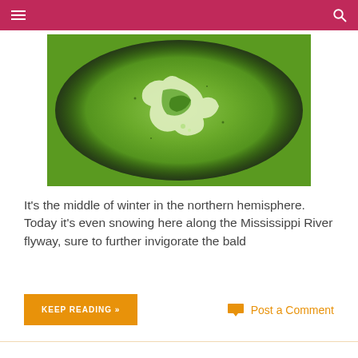[Figure (photo): Close-up photo of green soup or smoothie with a swirl of cream or sauce on top, appearing to be a vegetable-based puree in a bowl]
It's the middle of winter in the northern hemisphere. Today it's even snowing here along the Mississippi River flyway, sure to further invigorate the bald
KEEP READING »
Post a Comment